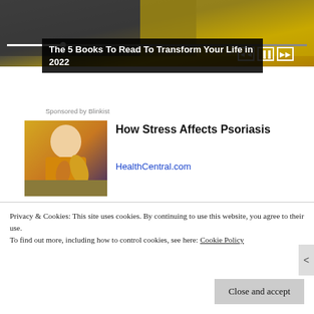[Figure (screenshot): Video/audio player thumbnail showing person holding phone against gold/dark background with media controls]
The 5 Books To Read To Transform Your Life in 2022
Sponsored by Blinkist
[Figure (photo): Woman in yellow sweater scratching her arm, seated on couch]
How Stress Affects Psoriasis
HealthCentral.com
[Figure (photo): Elderly man with white hair and beard wearing dark wide-brim hat]
Almost Nobody Has Passed This Classic Logo Quiz
Privacy & Cookies: This site uses cookies. By continuing to use this website, you agree to their use.
To find out more, including how to control cookies, see here: Cookie Policy
Close and accept